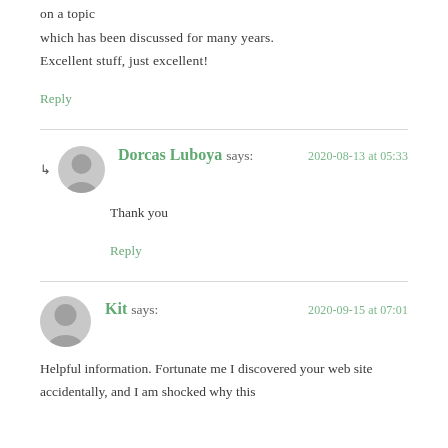I personally will need command, You certainly put a fresh spin on a topic which has been discussed for many years. Excellent stuff, just excellent!
Reply
Dorcas Luboya says: 2020-08-13 at 05:33
Thank you
Reply
Kit says: 2020-09-15 at 07:01
Helpful information. Fortunate me I discovered your web site accidentally, and I am shocked why this